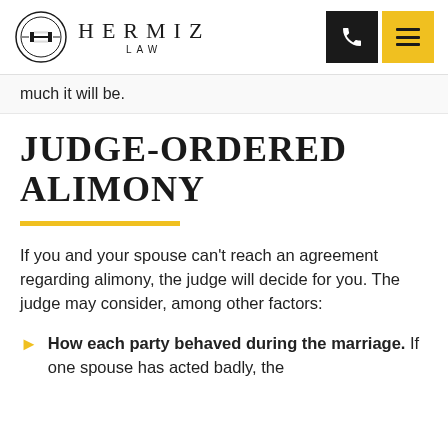HERMIZ LAW
much it will be.
JUDGE-ORDERED ALIMONY
If you and your spouse can't reach an agreement regarding alimony, the judge will decide for you. The judge may consider, among other factors:
How each party behaved during the marriage. If one spouse has acted badly, the